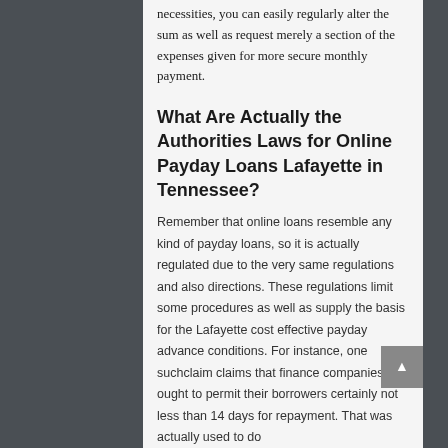necessities, you can easily regularly alter the sum as well as request merely a section of the expenses given for more secure monthly payment.
What Are Actually the Authorities Laws for Online Payday Loans Lafayette in Tennessee?
Remember that online loans resemble any kind of payday loans, so it is actually regulated due to the very same regulations and also directions. These regulations limit some procedures as well as supply the basis for the Lafayette cost effective payday advance conditions. For instance, one suchclaim claims that finance companies ought to permit their borrowers certainly not less than 14 days for repayment. That was actually used to do